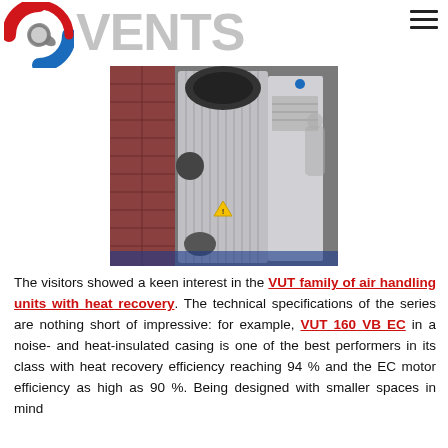VENTS logo and navigation header
[Figure (photo): Photograph of a VENTS VUT air handling unit with heat recovery, tall vertical silver unit displayed at an exhibition with brick wall background]
The visitors showed a keen interest in the VUT family of air handling units with heat recovery. The technical specifications of the series are nothing short of impressive: for example, VUT 160 VB EC in a noise- and heat-insulated casing is one of the best performers in its class with heat recovery efficiency reaching 94 % and the EC motor efficiency as high as 90 %. Being designed with smaller spaces in mind